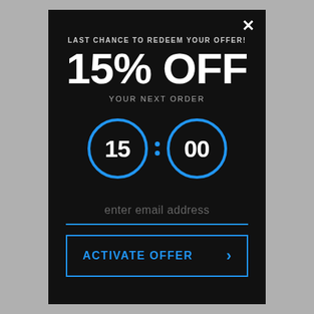×
LAST CHANCE TO REDEEM YOUR OFFER!
15% OFF
YOUR NEXT ORDER
[Figure (other): Countdown timer displaying 15:00 with two blue circle outlines around each number segment]
enter email address
ACTIVATE OFFER >